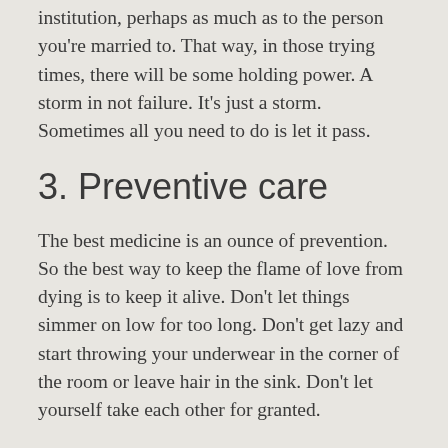institution, perhaps as much as to the person you're married to. That way, in those trying times, there will be some holding power. A storm in not failure. It's just a storm. Sometimes all you need to do is let it pass.
3. Preventive care
The best medicine is an ounce of prevention. So the best way to keep the flame of love from dying is to keep it alive. Don't let things simmer on low for too long. Don't get lazy and start throwing your underwear in the corner of the room or leave hair in the sink. Don't let yourself take each other for granted.
4. Keep the romance alive
Date night. Just do it. We've had times when date